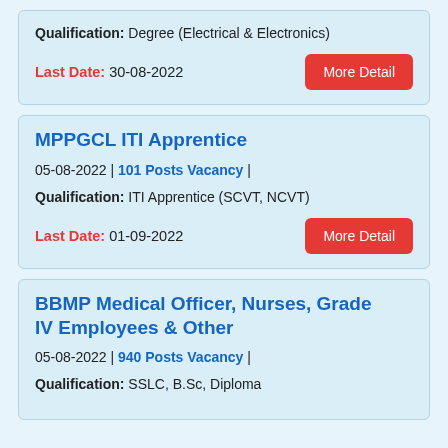Qualification: Degree (Electrical & Electronics)
Last Date: 30-08-2022
MPPGCL ITI Apprentice
05-08-2022 | 101 Posts Vacancy |
Qualification: ITI Apprentice (SCVT, NCVT)
Last Date: 01-09-2022
BBMP Medical Officer, Nurses, Grade IV Employees & Other
05-08-2022 | 940 Posts Vacancy |
Qualification: SSLC, B.Sc, Diploma